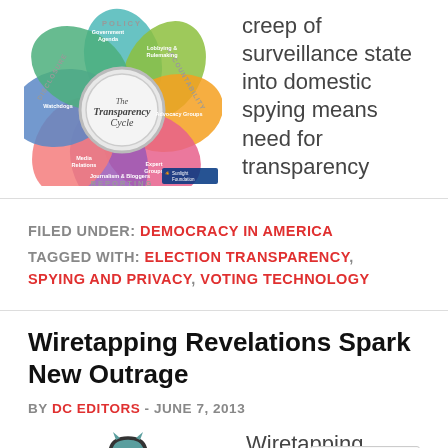[Figure (infographic): The Transparency Cycle diagram – a colorful Venn-style multi-petal circle diagram by Sunlight Foundation showing policy, accountability, reporting and other transparency elements.]
creep of surveillance state into domestic spying means need for transparency
FILED UNDER: DEMOCRACY IN AMERICA
TAGGED WITH: ELECTION TRANSPARENCY, SPYING AND PRIVACY, VOTING TECHNOLOGY
Wiretapping Revelations Spark New Outrage
BY DC EDITORS - JUNE 7, 2013
[Figure (illustration): Illustration of a stylized owl or bird figure with headphones and wings, associated with wiretapping/surveillance theme.]
Wiretapping Revelations: Huge